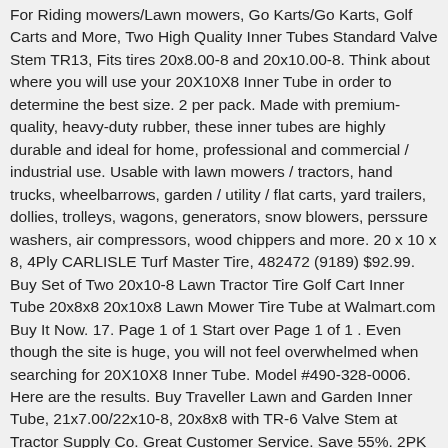For Riding mowers/Lawn mowers, Go Karts/Go Karts, Golf Carts and More, Two High Quality Inner Tubes Standard Valve Stem TR13, Fits tires 20x8.00-8 and 20x10.00-8. Think about where you will use your 20X10X8 Inner Tube in order to determine the best size. 2 per pack. Made with premium-quality, heavy-duty rubber, these inner tubes are highly durable and ideal for home, professional and commercial / industrial use. Usable with lawn mowers / tractors, hand trucks, wheelbarrows, garden / utility / flat carts, yard trailers, dollies, trolleys, wagons, generators, snow blowers, perssure washers, air compressors, wood chippers and more. 20 x 10 x 8, 4Ply CARLISLE Turf Master Tire, 482472 (9189) $92.99. Buy Set of Two 20x10-8 Lawn Tractor Tire Golf Cart Inner Tube 20x8x8 20x10x8 Lawn Mower Tire Tube at Walmart.com Buy It Now. 17. Page 1 of 1 Start over Page 1 of 1 . Even though the site is huge, you will not feel overwhelmed when searching for 20X10X8 Inner Tube. Model #490-328-0006. Here are the results. Buy Traveller Lawn and Garden Inner Tube, 21x7.00/22x10-8, 20x8x8 with TR-6 Valve Stem at Tractor Supply Co. Great Customer Service. Save 55%. 2PK 20X10.00-8 Turf 20X10-8 20x10-8 20-10-8 4 PLY Rated Lawn Mower Tire Compatible with...